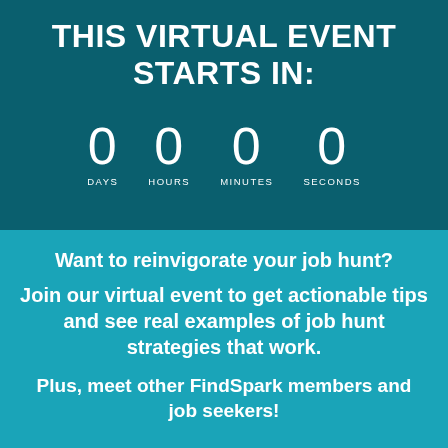THIS VIRTUAL EVENT STARTS IN:
[Figure (infographic): Countdown timer showing 0 DAYS, 0 HOURS, 0 MINUTES, 0 SECONDS]
Want to reinvigorate your job hunt?
Join our virtual event to get actionable tips and see real examples of job hunt strategies that work.
Plus, meet other FindSpark members and job seekers!